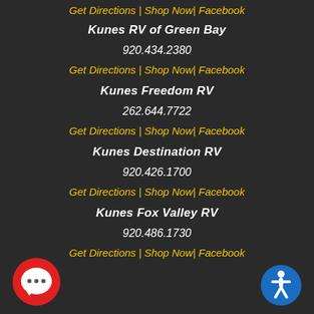Get Directions | Shop Now| Facebook
Kunes RV of Green Bay
920.434.2380
Get Directions | Shop Now| Facebook
Kunes Freedom RV
262.644.7722
Get Directions | Shop Now| Facebook
Kunes Destination RV
920.426.1700
Get Directions | Shop Now| Facebook
Kunes Fox Valley RV
920.486.1730
Get Directions | Shop Now| Facebook
[Figure (illustration): Red circular chat bubble icon with three dots, bottom left corner]
[Figure (illustration): Blue circular accessibility icon with person figure, bottom right corner]